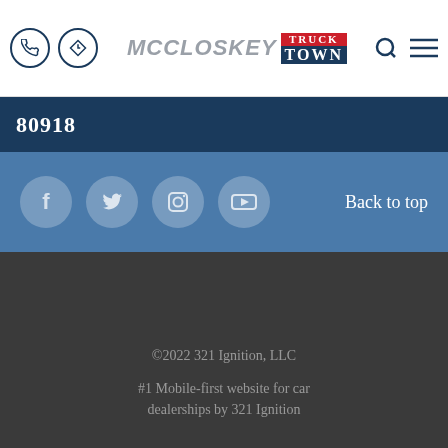McCloskey Truck Town header with phone icon, directions icon, logo, search, and menu
80918
[Figure (logo): Social media icons: Facebook, Twitter, Instagram, YouTube with Back to top link]
©2022 321 Ignition, LLC
#1 Mobile-first website for car dealerships by 321 Ignition